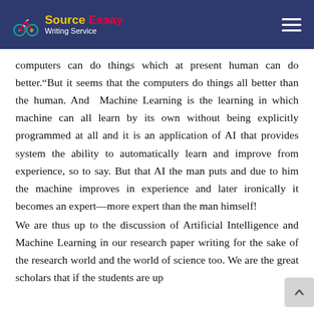Source Essay Writing Service
computers can do things which at present human can do better.“But it seems that the computers do things all better than the human. And Machine Learning is the learning in which machine can all learn by its own without being explicitly programmed at all and it is an application of AI that provides system the ability to automatically learn and improve from experience, so to say. But that AI the man puts and due to him the machine improves in experience and later ironically it becomes an expert—more expert than the man himself!
We are thus up to the discussion of Artificial Intelligence and Machine Learning in our research paper writing for the sake of the research world and the world of science too. We are the great scholars that if the students are up...